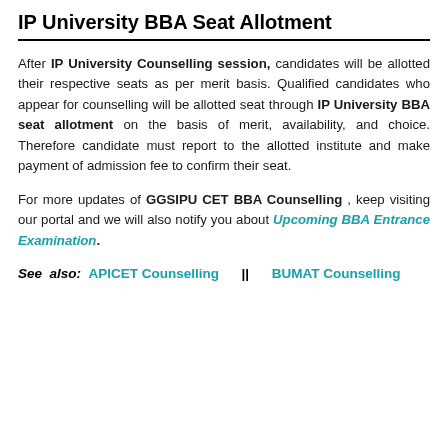IP University BBA Seat Allotment
After IP University Counselling session, candidates will be allotted their respective seats as per merit basis. Qualified candidates who appear for counselling will be allotted seat through IP University BBA seat allotment on the basis of merit, availability, and choice. Therefore candidate must report to the allotted institute and make payment of admission fee to confirm their seat.
For more updates of GGSIPU CET BBA Counselling , keep visiting our portal and we will also notify you about Upcoming BBA Entrance Examination.
See also: APICET Counselling || BUMAT Counselling